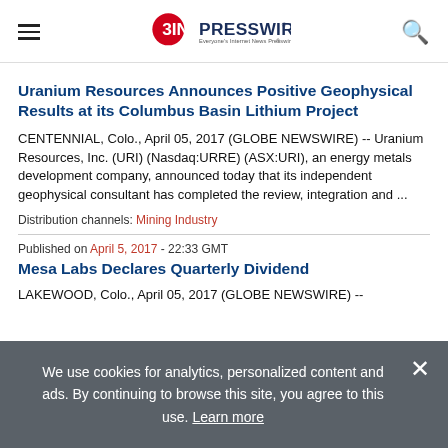EINPresswire — Everyone's Internet News Presswire
Uranium Resources Announces Positive Geophysical Results at its Columbus Basin Lithium Project
CENTENNIAL, Colo., April 05, 2017 (GLOBE NEWSWIRE) -- Uranium Resources, Inc. (URI) (Nasdaq:URRE) (ASX:URI), an energy metals development company, announced today that its independent geophysical consultant has completed the review, integration and ...
Distribution channels: Mining Industry
Published on April 5, 2017 - 22:33 GMT
Mesa Labs Declares Quarterly Dividend
LAKEWOOD, Colo., April 05, 2017 (GLOBE NEWSWIRE) --
We use cookies for analytics, personalized content and ads. By continuing to browse this site, you agree to this use. Learn more